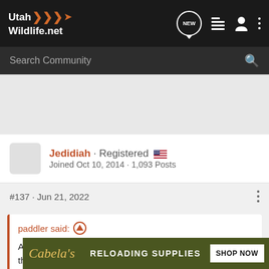UtahWildlife.net
Search Community
Jedidiah · Registered
Joined Oct 10, 2014 · 1,093 Posts
#137 · Jun 21, 2022
paddler said:
As pistols are often used by mass murderers, I included them in those t... se detach...
[Figure (screenshot): Cabela's Reloading Supplies advertisement banner: RELOADING SUPPLIES SHOP NOW]